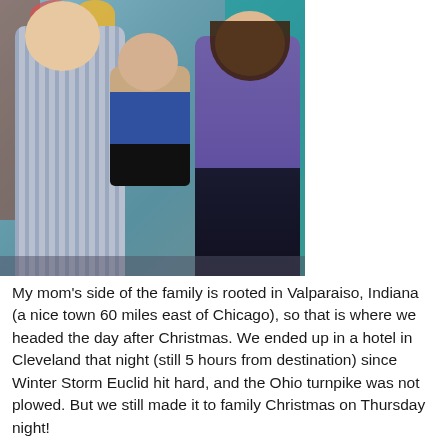[Figure (photo): A family photo showing a man on the left in a striped button-up shirt, a woman on the right in a purple top, and a toddler being held between them. They are standing inside what appears to be a retail store with a teal/aqua interior and brick wall visible in the background.]
My mom's side of the family is rooted in Valparaiso, Indiana (a nice town 60 miles east of Chicago), so that is where we headed the day after Christmas. We ended up in a hotel in Cleveland that night (still 5 hours from destination) since Winter Storm Euclid hit hard, and the Ohio turnpike was not plowed. But we still made it to family Christmas on Thursday night!